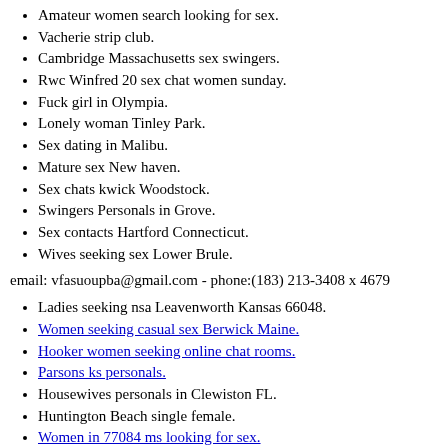Amateur women search looking for sex.
Vacherie strip club.
Cambridge Massachusetts sex swingers.
Rwc Winfred 20 sex chat women sunday.
Fuck girl in Olympia.
Lonely woman Tinley Park.
Sex dating in Malibu.
Mature sex New haven.
Sex chats kwick Woodstock.
Swingers Personals in Grove.
Sex contacts Hartford Connecticut.
Wives seeking sex Lower Brule.
email: vfasuoupba@gmail.com - phone:(183) 213-3408 x 4679
Ladies seeking nsa Leavenworth Kansas 66048.
Women seeking casual sex Berwick Maine.
Hooker women seeking online chat rooms.
Parsons ks personals.
Housewives personals in Clewiston FL.
Huntington Beach single female.
Women in 77084 ms looking for sex.
Local fucking Olympia Washington Olympia Washington.
Pussy in midland tx.
Sex dating in Lagro.
Talk to Milwaukee Wisconsin hookers free online.